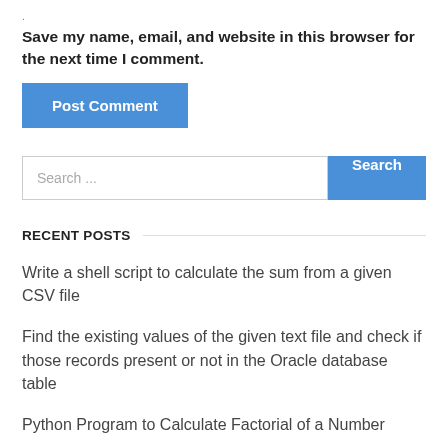.
Save my name, email, and website in this browser for the next time I comment.
Post Comment
Search ...
RECENT POSTS
Write a shell script to calculate the sum from a given CSV file
Find the existing values of the given text file and check if those records present or not in the Oracle database table
Python Program to Calculate Factorial of a Number